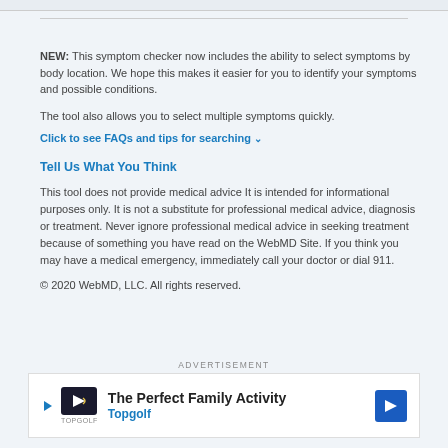NEW: This symptom checker now includes the ability to select symptoms by body location. We hope this makes it easier for you to identify your symptoms and possible conditions.
The tool also allows you to select multiple symptoms quickly.
Click to see FAQs and tips for searching
Tell Us What You Think
This tool does not provide medical advice It is intended for informational purposes only. It is not a substitute for professional medical advice, diagnosis or treatment. Never ignore professional medical advice in seeking treatment because of something you have read on the WebMD Site. If you think you may have a medical emergency, immediately call your doctor or dial 911.
© 2020 WebMD, LLC. All rights reserved.
[Figure (other): Advertisement banner for Topgolf: 'The Perfect Family Activity' with Topgolf logo and blue arrow icon]